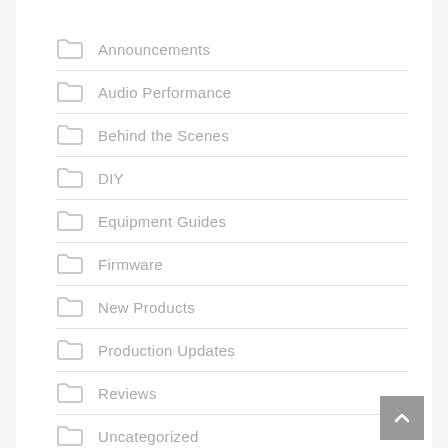Announcements
Audio Performance
Behind the Scenes
DIY
Equipment Guides
Firmware
New Products
Production Updates
Reviews
Uncategorized